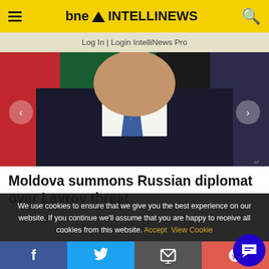bne INTELLINEWS
Log In | Login IntelliNews Pro
[Figure (photo): Close-up photo of a man in a dark suit with a blue tie, partial face visible, flags in background]
Moldova summons Russian diplomat over Lavrov threat
We use cookies to ensure that we give you the best experience on our website. If you continue we'll assume that you are happy to receive all cookies from this website. Accept  View Cookie
Facebook | Twitter | Email | Reddit